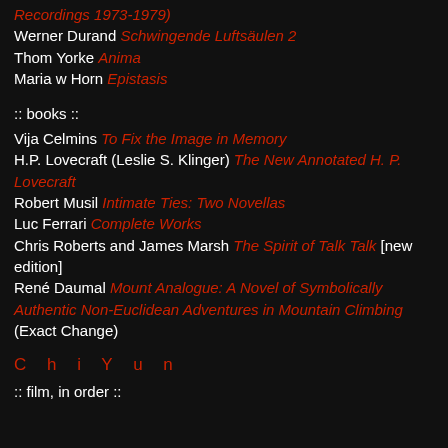Recordings 1973-1979)
Werner Durand Schwingende Luftsäulen 2
Thom Yorke Anima
Maria w Horn Epistasis
:: books ::
Vija Celmins To Fix the Image in Memory
H.P. Lovecraft (Leslie S. Klinger) The New Annotated H. P. Lovecraft
Robert Musil Intimate Ties: Two Novellas
Luc Ferrari Complete Works
Chris Roberts and James Marsh The Spirit of Talk Talk [new edition]
René Daumal Mount Analogue: A Novel of Symbolically Authentic Non-Euclidean Adventures in Mountain Climbing (Exact Change)
C h i  Y u n
:: film, in order ::